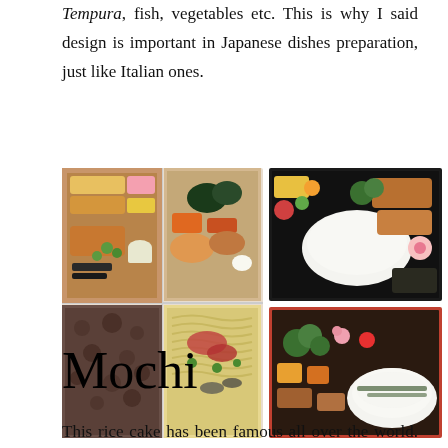Tempura, fish, vegetables etc. This is why I said design is important in Japanese dishes preparation, just like Italian ones.
[Figure (photo): Six photographs of Japanese bento box meals arranged in a 2x2 grid on the left and 2 stacked photos on the right, showing various Japanese dishes including rice, vegetables, fried foods, and mixed dishes.]
Mochi
This rice cake has been famous all over the world. Here